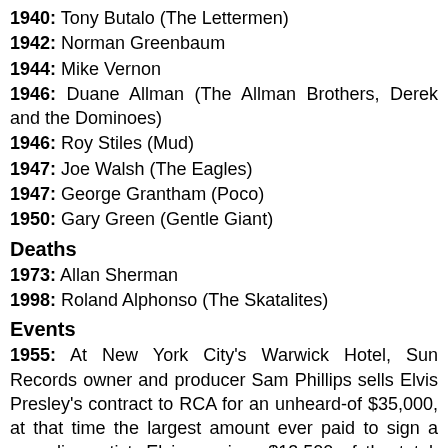1940: Tony Butalo (The Lettermen)
1942: Norman Greenbaum
1944: Mike Vernon
1946: Duane Allman (The Allman Brothers, Derek and the Dominoes)
1946: Roy Stiles (Mud)
1947: Joe Walsh (The Eagles)
1947: George Grantham (Poco)
1950: Gary Green (Gentle Giant)
Deaths
1973: Allan Sherman
1998: Roland Alphonso (The Skatalites)
Events
1955: At New York City's Warwick Hotel, Sun Records owner and producer Sam Phillips sells Elvis Presley's contract to RCA for an unheard-of $35,000, at that time the largest amount ever paid to sign a recording artist. Elvis receives $13,500 of the total; Phillips invests his share in a local hotel chain called